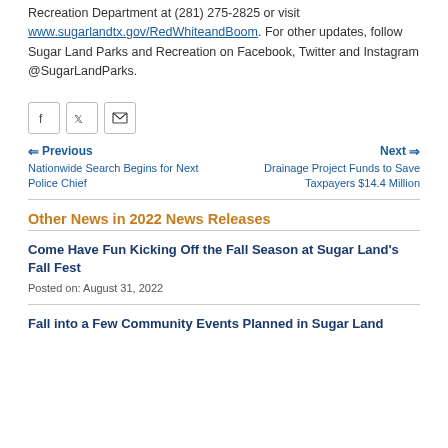Recreation Department at (281) 275-2825 or visit www.sugarlandtx.gov/RedWhiteandBoom. For other updates, follow Sugar Land Parks and Recreation on Facebook, Twitter and Instagram @SugarLandParks.
[Figure (other): Social share icons: Facebook, Twitter, Email]
Previous
Nationwide Search Begins for Next Police Chief
Next
Drainage Project Funds to Save Taxpayers $14.4 Million
Other News in 2022 News Releases
Come Have Fun Kicking Off the Fall Season at Sugar Land's Fall Fest
Posted on: August 31, 2022
Fall into a Few Community Events Planned in Sugar Land